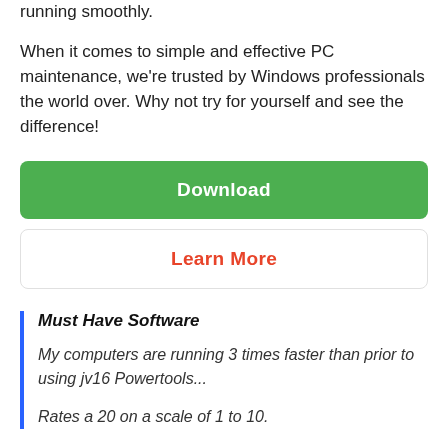running smoothly.
When it comes to simple and effective PC maintenance, we're trusted by Windows professionals the world over. Why not try for yourself and see the difference!
Download
Learn More
Must Have Software
My computers are running 3 times faster than prior to using jv16 Powertools...
Rates a 20 on a scale of 1 to 10.